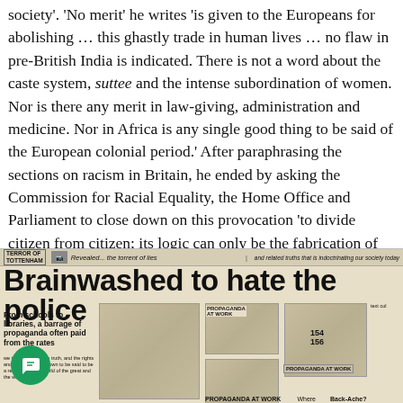society'. 'No merit' he writes 'is given to the Europeans for abolishing … this ghastly trade in human lives … no flaw in pre-British India is indicated. There is not a word about the caste system, suttee and the intense subordination of women. Nor is there any merit in law-giving, administration and medicine. Nor in Africa is any single good thing to be said of the European colonial period.' After paraphrasing the sections on racism in Britain, he ended by asking the Commission for Racial Equality, the Home Office and Parliament to close down on this provocation 'to divide citizen from citizen; its logic can only be the fabrication of social unrest'.
[Figure (photo): Newspaper front page with headline 'Brainwashed to hate the police'. Sub-headline reads 'TERROR OF TOTTENHAM'. Caption: 'Revealed... the torrent of lies and related truths that is indoctrinating our society today'. Article text: 'From schools to libraries, a barrage of propaganda often paid from the rates'. Photos show various scenes including a person with a gun, and outdoor scenes with numbers 154, 156 visible. Labels reading 'PROPAGANDA AT WORK'.]